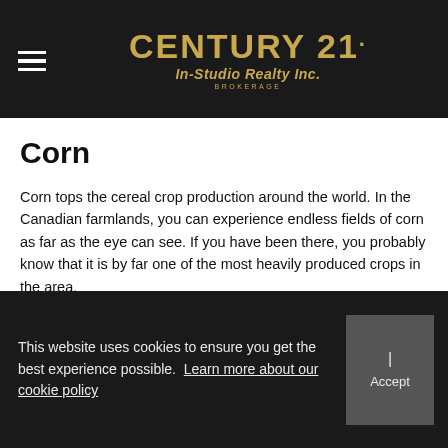CENTURY 21. In-Studio Realty Inc. BROKERAGE
Corn
Corn tops the cereal crop production around the world. In the Canadian farmlands, you can experience endless fields of corn as far as the eye can see. If you have been there, you probably know that it is by far one of the most heavily produced crops in the area.
Ontario typically grows three types of sweet corn: standard, sugar-enhanced, and super sweet. Each possesses three distinct colour groups: yellow, bicolour (yellow-and-white) and white. The sugar content of the conventional type varies from 9-16 percent, compared to the 14-44 percent range in the others.
This website uses cookies to ensure you get the best experience possible. Learn more about our cookie policy | Accept